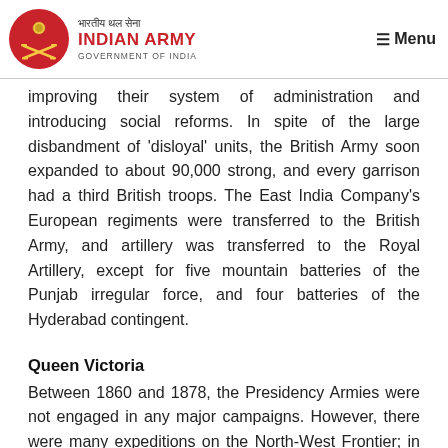Indian Army — Government of India | Menu
improving their system of administration and introducing social reforms. In spite of the large disbandment of 'disloyal' units, the British Army soon expanded to about 90,000 strong, and every garrison had a third British troops. The East India Company's European regiments were transferred to the British Army, and artillery was transferred to the Royal Artillery, except for five mountain batteries of the Punjab irregular force, and four batteries of the Hyderabad contingent.
Queen Victoria
Between 1860 and 1878, the Presidency Armies were not engaged in any major campaigns. However, there were many expeditions on the North-West Frontier; in Eastern India and the North-Eastern Frontier.
As a part of British Government's policy, during the second half of